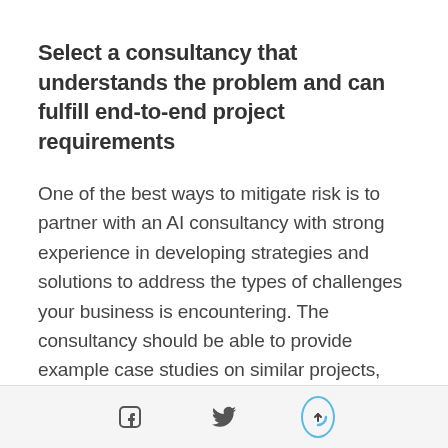Select a consultancy that understands the problem and can fulfill end-to-end project requirements
One of the best ways to mitigate risk is to partner with an AI consultancy with strong experience in developing strategies and solutions to address the types of challenges your business is encountering. The consultancy should be able to provide example case studies on similar projects, communicate the similarities between the cases, articulate their solution approach and the outcome. These don't need to be a carbon copy in terms of your industry, data or scenario, but should be representative of the
[Figure (other): Page footer with social media icons: Facebook icon, Twitter bird icon, and an upward arrow scroll-to-top button with a circular arc indicator]